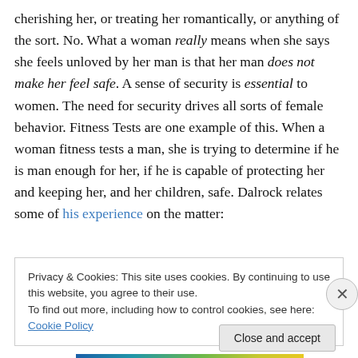cherishing her, or treating her romantically, or anything of the sort. No. What a woman really means when she says she feels unloved by her man is that her man does not make her feel safe. A sense of security is essential to women. The need for security drives all sorts of female behavior. Fitness Tests are one example of this. When a woman fitness tests a man, she is trying to determine if he is man enough for her, if he is capable of protecting her and keeping her, and her children, safe. Dalrock relates some of his experience on the matter:
Privacy & Cookies: This site uses cookies. By continuing to use this website, you agree to their use.
To find out more, including how to control cookies, see here: Cookie Policy